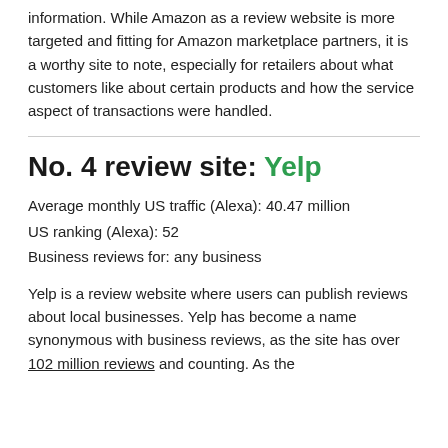information. While Amazon as a review website is more targeted and fitting for Amazon marketplace partners, it is a worthy site to note, especially for retailers about what customers like about certain products and how the service aspect of transactions were handled.
No. 4 review site: Yelp
Average monthly US traffic (Alexa): 40.47 million
US ranking (Alexa): 52
Business reviews for: any business
Yelp is a review website where users can publish reviews about local businesses. Yelp has become a name synonymous with business reviews, as the site has over 102 million reviews and counting. As the